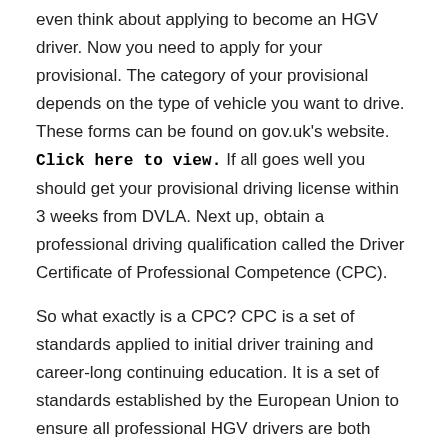even think about applying to become an HGV driver. Now you need to apply for your provisional. The category of your provisional depends on the type of vehicle you want to drive. These forms can be found on gov.uk's website. Click here to view. If all goes well you should get your provisional driving license within 3 weeks from DVLA. Next up, obtain a professional driving qualification called the Driver Certificate of Professional Competence (CPC).
So what exactly is a CPC? CPC is a set of standards applied to initial driver training and career-long continuing education. It is a set of standards established by the European Union to ensure all professional HGV drivers are both competent and proficient as well as developing their knowledge and skills. On the road to becoming a professional HGV driver, you must first pass all 4 initial tests to qualify for CPC. Thereafter you must complete 35 hours of periodic training every 5 years to maintain your HGV qualification. If you do not obtain this qualification and you are driving professionally you could face a hefty fine of £1000. Definitely not worth it.
Upon passing all 4 CPC tests you'll be sent a Driver CPC card. This is